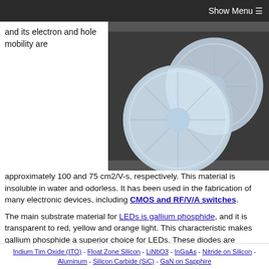Show Menu ☰
and its electron and hole mobility are
[Figure (photo): Two circular semiconductor wafers/lenses on a dark background]
approximately 100 and 75 cm2/V-s, respectively. This material is insoluble in water and odorless. It has been used in the fabrication of many electronic devices, including CMOS and RF/V/A switches.
The main substrate material for LEDs is gallium phosphide, and it is transparent to red, yellow and orange light. This characteristic makes gallium phosphide a superior choice for LEDs. These diodes are transparent to most light, so their use in electronic components depends on how brightly they emit light. However, there is a problem associated with this material. Although it is highly conductive, it does not emit enough light to be useful as a source of illumination.
The energy gap of gallium phosphide is 2.24 eV, making it an ideal material for use in electronics.
The main disadvantages of gallium phosphide are its high
Indium Tim Oxide (ITO) - Float Zone Silicon - LiNbO3 - InGaAs - Nitride on Silicon - Aluminum - Silicon Carbide (SiC) - GaN on Sapphire